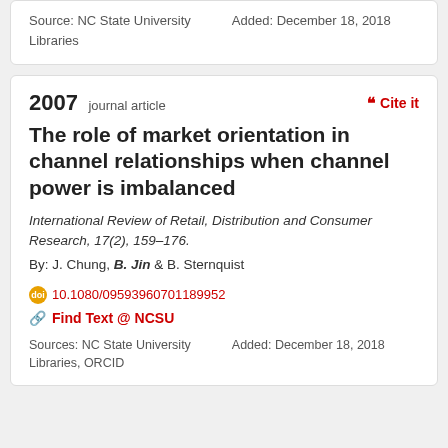Source: NC State University Libraries
Added: December 18, 2018
2007 journal article
Cite it
The role of market orientation in channel relationships when channel power is imbalanced
International Review of Retail, Distribution and Consumer Research, 17(2), 159–176.
By: J. Chung, B. Jin & B. Sternquist
10.1080/09593960701189952
Find Text @ NCSU
Sources: NC State University Libraries, ORCID
Added: December 18, 2018